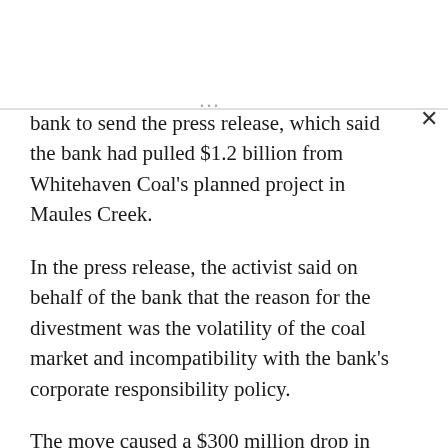bank to send the press release, which said the bank had pulled $1.2 billion from Whitehaven Coal's planned project in Maules Creek.
In the press release, the activist said on behalf of the bank that the reason for the divestment was the volatility of the coal market and incompatibility with the bank's corporate responsibility policy.
The move caused a $300 million drop in the mining company's share price and although it was initially thought that Moylan could face up to 10 years in prison, he was first released on bail and has now been given a 20 month suspended sentence.